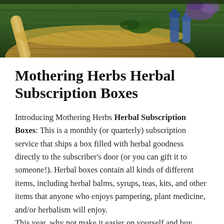[Figure (photo): A wicker basket with herbal and botanical items including a wooden-handled tool and small blue bottles, set against green grass background. Photo is cropped to show the upper portion of the basket.]
Mothering Herbs Herbal Subscription Boxes
Introducing Mothering Herbs Herbal Subscription Boxes: This is a monthly (or quarterly) subscription service that ships a box filled with herbal goodness directly to the subscriber's door (or you can gift it to someone!). Herbal boxes contain all kinds of different items, including herbal balms, syrups, teas, kits, and other items that anyone who enjoys pampering, plant medicine, and/or herbalism will enjoy.
This year, why not make it easier on yourself and buy yourself or gift a subscription to Mothering Herbs Herbal Subscription Boxes, a gift that keeps